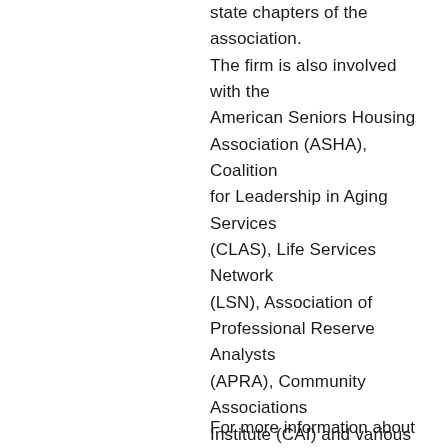state chapters of the association. The firm is also involved with the American Seniors Housing Association (ASHA), Coalition for Leadership in Aging Services (CLAS), Life Services Network (LSN), Association of Professional Reserve Analysts (APRA), Community Associations Institute (CAI) and various state chapters, North Carolina Association of Independent Schools (NCAIS) and the Southern Association of Independent Schools (SAIS).
For more information about